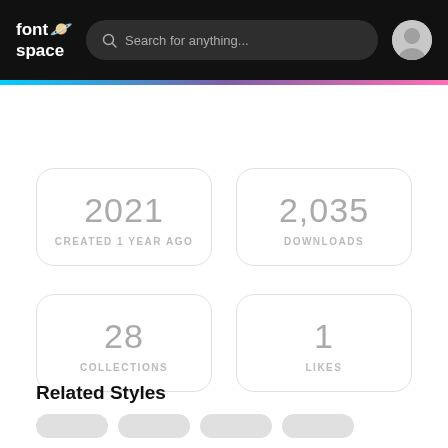fontspace — Search for anything...
2021
CREATED 1 YEAR AGO
2,035
DOWNLOADS
28
COLLECTIONS
1
LIKES
Related Styles